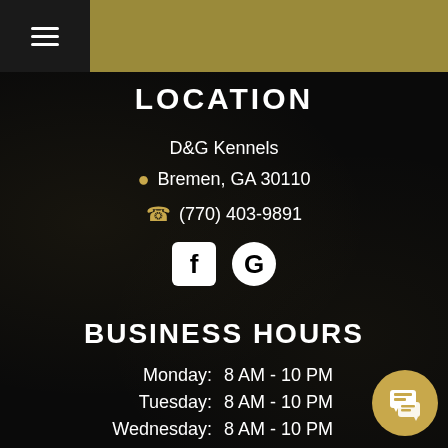D&G Kennels - Navigation bar with hamburger menu and gold header bar
LOCATION
D&G Kennels
Bremen, GA 30110
(770) 403-9891
[Figure (logo): Facebook and Google social media icons]
BUSINESS HOURS
| Day | Hours |
| --- | --- |
| Monday: | 8 AM - 10 PM |
| Tuesday: | 8 AM - 10 PM |
| Wednesday: | 8 AM - 10 PM |
| Thursday: | 8 AM - 10 PM |
| Friday: | 8 AM - 10 PM |